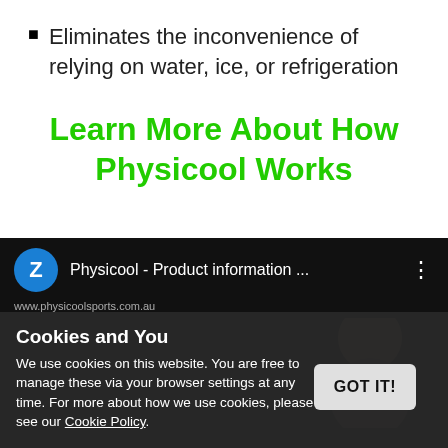Eliminates the inconvenience of relying on water, ice, or refrigeration
Learn More About How Physicool Works
[Figure (screenshot): Screenshot of a video player showing 'Physicool - Product information ...' with a Z avatar icon, three-dot menu, and a person visible in the video background. A cookie consent overlay is shown at the bottom reading 'Cookies and You - We use cookies on this website. You are free to manage these via your browser settings at any time. For more about how we use cookies, please see our Cookie Policy.' with a GOT IT! button.]